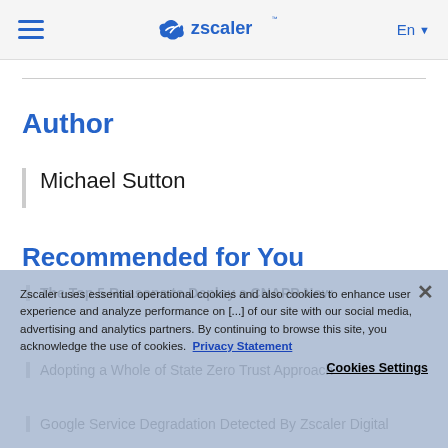Zscaler — En
Author
Michael Sutton
Recommended for You
The Top 5 Reasons to Deploy a CNAPP Now
Zscaler uses essential operational cookies and also cookies to enhance user experience and analyze performance on [...] of our site with our social media, advertising and analytics partners. By continuing to browse this site, you acknowledge the use of cookies. Privacy Statement
Adopting a Whole of State Zero Trust Approach
Cookies Settings
Google Service Degradation Detected By Zscaler Digital